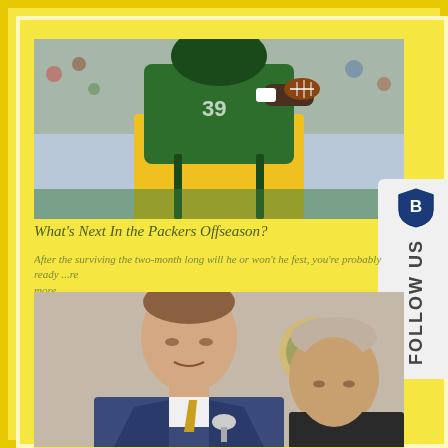[Figure (photo): Green Bay Packers football player in green and yellow uniform running on field, crowd in background]
What's Next In the Packers Offseason?
After the surviving the two-month long will he or won't he fest, you're probably ready ...read more
[Figure (photo): Two men in suits at a press conference, one younger man in foreground in blue suit, older man behind him]
[Figure (logo): Follow Us social media widget with shield logo]